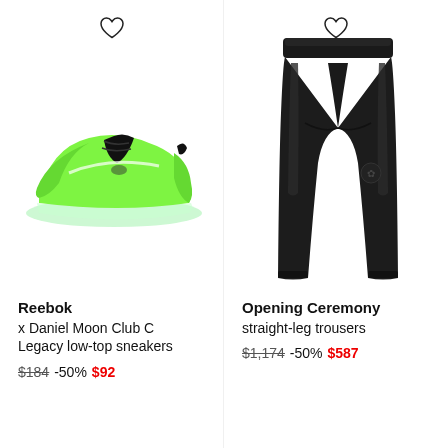[Figure (photo): Neon green Reebok x Daniel Moon Club C Legacy low-top sneaker on white background]
Reebok
x Daniel Moon Club C Legacy low-top sneakers
$184 -50% $92
[Figure (photo): Black leather-look Opening Ceremony straight-leg trousers on white background]
Opening Ceremony
straight-leg trousers
$1,174 -50% $587